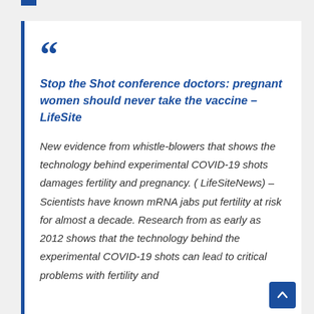Stop the Shot conference doctors: pregnant women should never take the vaccine – LifeSite
New evidence from whistle-blowers that shows the technology behind experimental COVID-19 shots damages fertility and pregnancy. ( LifeSiteNews) – Scientists have known mRNA jabs put fertility at risk for almost a decade. Research from as early as 2012 shows that the technology behind the experimental COVID-19 shots can lead to critical problems with fertility and